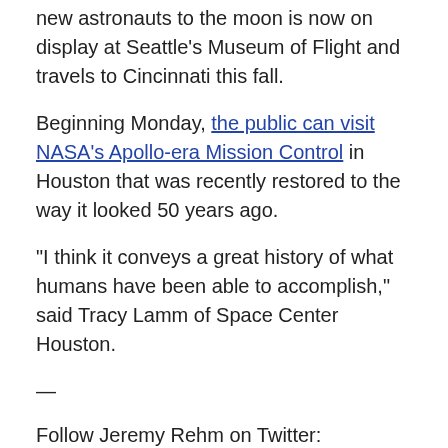new astronauts to the moon is now on display at Seattle's Museum of Flight and travels to Cincinnati this fall.
Beginning Monday, the public can visit NASA's Apollo-era Mission Control in Houston that was recently restored to the way it looked 50 years ago.
"I think it conveys a great history of what humans have been able to accomplish," said Tracy Lamm of Space Center Houston.
—
Follow Jeremy Rehm on Twitter: @jrehm_sci
—
Follow AP's full coverage of the Apollo 11 anniversary